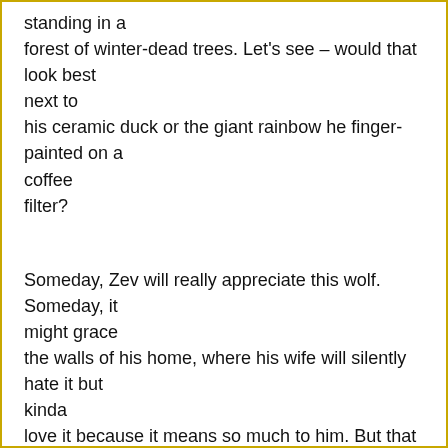standing in a forest of winter-dead trees. Let's see – would that look best next to his ceramic duck or the giant rainbow he finger-painted on a coffee filter?
Someday, Zev will really appreciate this wolf. Someday, it might grace the walls of his home, where his wife will silently hate it but kinda love it because it means so much to him. But that day is many, many years from now. In the meantime, I need to figure out what to do with it.